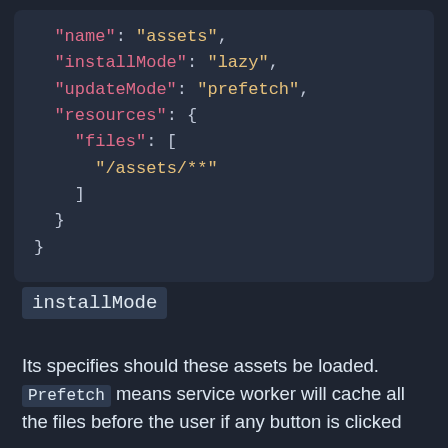[Figure (screenshot): Code block showing JSON configuration with keys: name, installMode, updateMode, resources (containing files array with /assets/**)]
installMode
Its specifies should these assets be loaded. Prefetch means service worker will cache all the files before the user if any button is clicked